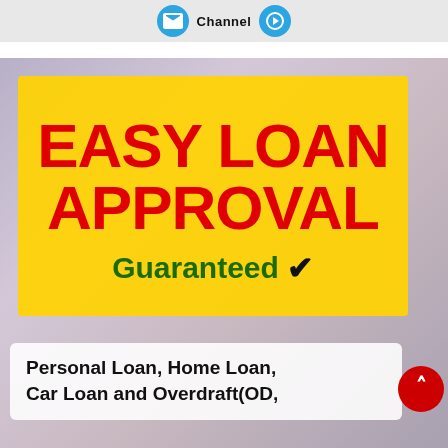[Figure (infographic): Top banner with two blue circles and 'Channel' text on grey background]
[Figure (infographic): Promotional finance image with yellow box saying 'EASY LOAN APPROVAL Guaranteed ✓' in bold red and green text, over a background photo of currency notes. Bottom white banner reads 'Personal Loan, Home Loan, Car Loan and Overdraft(OD,' with a red scroll-to-top button.]